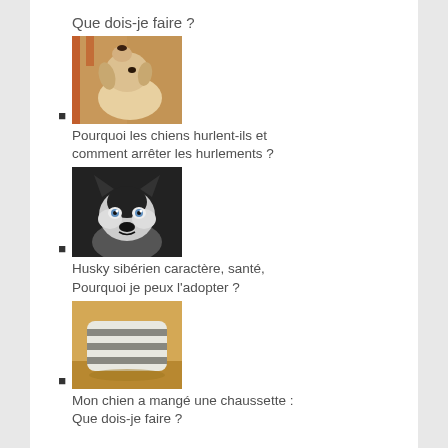Que dois-je faire ?
[Figure (photo): A golden/white Labrador dog looking upward, sitting on a bench, photographed from below.]
Pourquoi les chiens hurlent-ils et comment arrêter les hurlements ?
[Figure (photo): A black and white Husky dog staring directly at the camera, black and white photo.]
Husky sibérien caractère, santé, Pourquoi je peux l'adopter ?
[Figure (photo): Close-up of a dog chewing on a striped sock, warm lighting.]
Mon chien a mangé une chaussette : Que dois-je faire ?